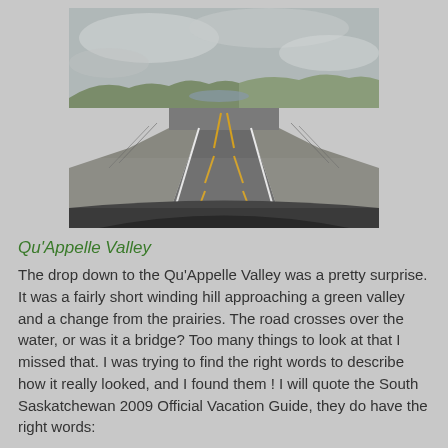[Figure (photo): A photograph taken from inside a car looking forward through the windshield at a two-lane highway stretching into the distance. The road has yellow center lines and white edge lines. Rolling hills and a green valley with what appears to be water are visible in the background under an overcast sky.]
Qu'Appelle Valley
The drop down to the Qu'Appelle Valley was a pretty surprise. It was a fairly short winding hill approaching a green valley and a change from the prairies. The road crosses over the water, or was it a bridge? Too many things to look at that I missed that. I was trying to find the right words to describe how it really looked, and I found them ! I will quote the South Saskatchewan 2009 Official Vacation Guide, they do have the right words: